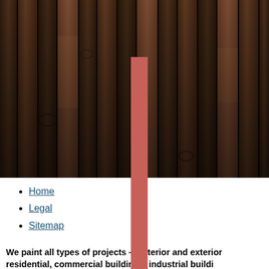[Figure (photo): Close-up photograph of dark weathered wooden planks/boards, side by side vertically, with a red/salmon colored vertical bar overlaid in the center]
Home
Legal
Sitemap
We paint all types of projects — interior and exterior residential, commercial buildings, industrial buildings,